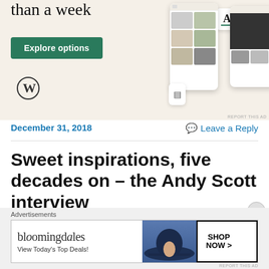[Figure (screenshot): Advertisement banner with beige background showing 'than a week' text, Explore options button, WordPress logo, and app mockup with food images. 'REPORT THIS AD' text at bottom right.]
December 31, 2018
Leave a Reply
Sweet inspirations, five decades on – the Andy Scott interview
[Figure (screenshot): Bloomingdales advertisement banner showing logo, 'View Today's Top Deals!', woman in hat, and SHOP NOW button.]